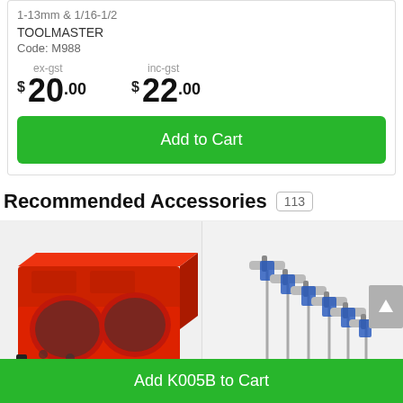1-13mm & 1/16-1/2
TOOLMASTER
Code: M988
ex-gst
$ 20.00
inc-gst
$ 22.00
Add to Cart
Recommended Accessories 113
[Figure (photo): Red metal tool holder/stand with two circular holes]
[Figure (photo): Set of T-handle hex key wrenches with blue grips in a stand]
Add K005B to Cart